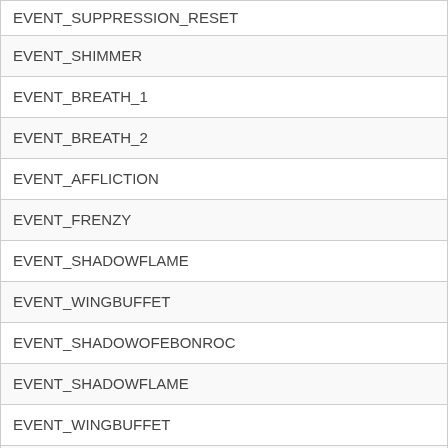| EVENT_SUPPRESSION_RESET |
| EVENT_SHIMMER |
| EVENT_BREATH_1 |
| EVENT_BREATH_2 |
| EVENT_AFFLICTION |
| EVENT_FRENZY |
| EVENT_SHADOWFLAME |
| EVENT_WINGBUFFET |
| EVENT_SHADOWOFEBONROC |
| EVENT_SHADOWFLAME |
| EVENT_WINGBUFFET |
| EVENT_FLAMEBUFFET |
| EVENT_SHADOWFLAME |
| EVENT_WINGBUFFET |
| EVENT_FRENZY |
| EVENT_SPAWN_ADD |
| EVENT_SHADOW_BOLT |